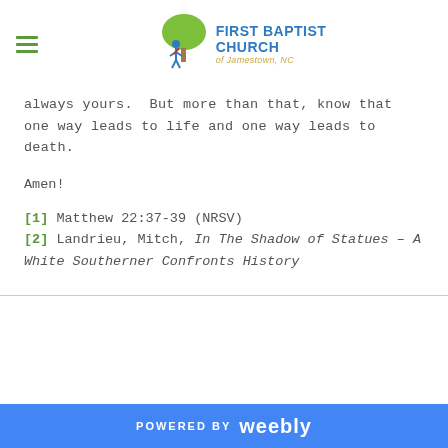First Baptist Church of Jamestown, NC
always yours.  But more than that, know that one way leads to life and one way leads to death.
Amen!
[1] Matthew 22:37-39 (NRSV)
[2] Landrieu, Mitch, In The Shadow of Statues – A White Southerner Confronts History
POWERED BY weebly